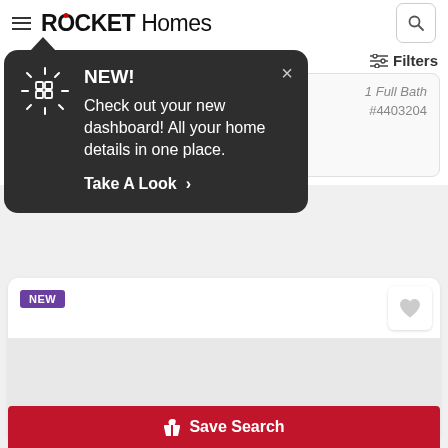ROCKET Homes
[Figure (screenshot): Rocket Homes website header with hamburger menu, ROCKET Homes logo, and search icon button]
[Figure (infographic): Dark popup tooltip with dashboard icon, NEW! heading, text 'Check out your new dashboard! All your home details in one place.', and 'Take A Look >' link. Close X button in top right.]
NEW!
Check out your new dashboard! All your home details in one place.
Take A Look >
Filters
#4403204
Lauren & Pringle
Listing Office
RE/MA
[Figure (screenshot): Listing card with NEW badge in purple, heart favorite button, and empty image area]
23
Save Search